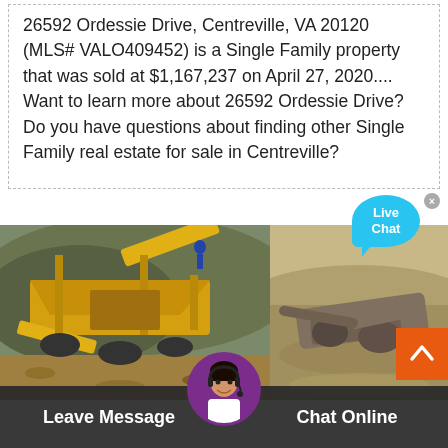26592 Ordessie Drive, Centreville, VA 20120 (MLS# VALO409452) is a Single Family property that was sold at $1,167,237 on April 27, 2020.... Want to learn more about 26592 Ordessie Drive? Do you have questions about finding other Single Family real estate for sale in Centreville?
[Figure (screenshot): Live Chat bubble (cyan/blue) with close X button in upper-right corner]
[Figure (photo): Two side-by-side photos: left shows a large yellow mining/crushing machine in a quarry with rocky hillside background; right shows heavy construction/mining equipment lying in a dusty arid landscape]
Leave Message
Chat Online